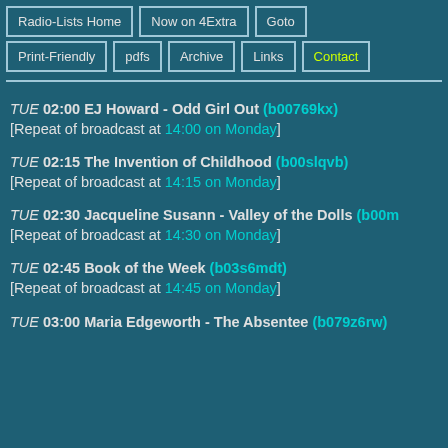Radio-Lists Home
Now on 4Extra
Goto
Print-Friendly
pdfs
Archive
Links
Contact
TUE 02:00 EJ Howard - Odd Girl Out (b00769kx)
[Repeat of broadcast at 14:00 on Monday]
TUE 02:15 The Invention of Childhood (b00slqvb)
[Repeat of broadcast at 14:15 on Monday]
TUE 02:30 Jacqueline Susann - Valley of the Dolls (b00m...)
[Repeat of broadcast at 14:30 on Monday]
TUE 02:45 Book of the Week (b03s6mdt)
[Repeat of broadcast at 14:45 on Monday]
TUE 03:00 Maria Edgeworth - The Absentee (b079z6rw)